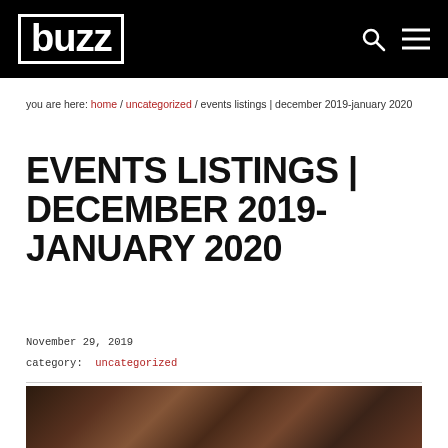buzz
you are here: home / uncategorized / events listings | december 2019-january 2020
EVENTS LISTINGS | DECEMBER 2019-JANUARY 2020
November 29, 2019
category: uncategorized
[Figure (photo): Photograph of a performance or event scene with dark warm tones, partially visible]